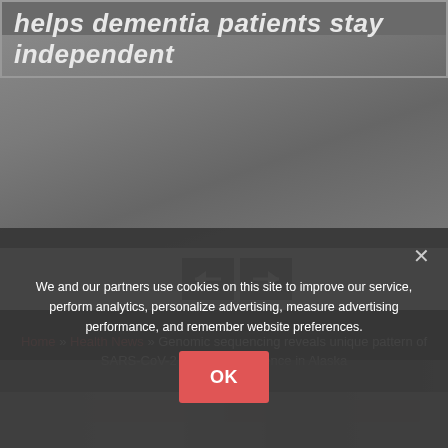helps dementia patients stay independent
[Figure (photo): Blurred background photo of people, appears to show a healthcare or dementia care context]
[Figure (screenshot): Navigation arrow buttons (left and right) on a grey background for a carousel]
Home » Health News » Genomic sequencing reveals unique pattern of SARS-CoV-2 Epsilon emergence in Alaska
We and our partners use cookies on this site to improve our service, perform analytics, personalize advertising, measure advertising performance, and remember website preferences.